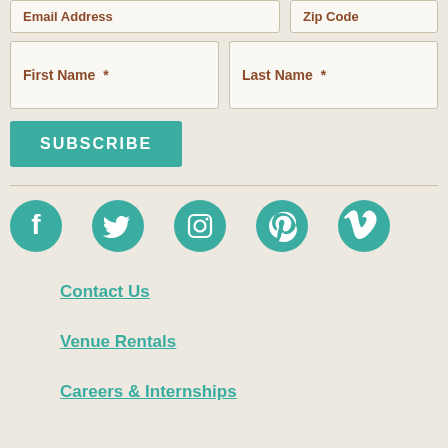Email Address | Zip Code
First Name * | Last Name *
SUBSCRIBE
[Figure (infographic): Row of 5 social media icons (Facebook, Twitter, Instagram, Pinterest, Vimeo) as teal circles with white symbols]
Contact Us
Venue Rentals
Careers & Internships